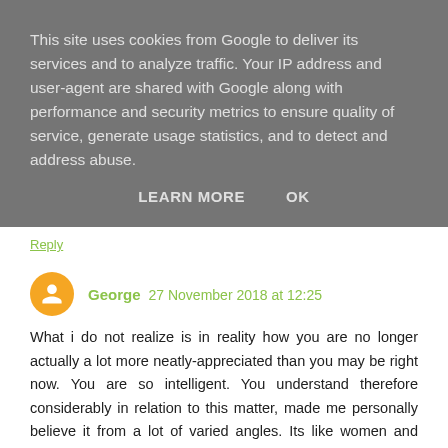This site uses cookies from Google to deliver its services and to analyze traffic. Your IP address and user-agent are shared with Google along with performance and security metrics to ensure quality of service, generate usage statistics, and to detect and address abuse.
LEARN MORE   OK
Reply
George 27 November 2018 at 12:25
What i do not realize is in reality how you are no longer actually a lot more neatly-appreciated than you may be right now. You are so intelligent. You understand therefore considerably in relation to this matter, made me personally believe it from a lot of varied angles. Its like women and men don't seem to be fascinated except it?s something to accomplish with Lady gaga! Your own stuffs excellent. At all times deal with it up! Ariel steam showers
Reply